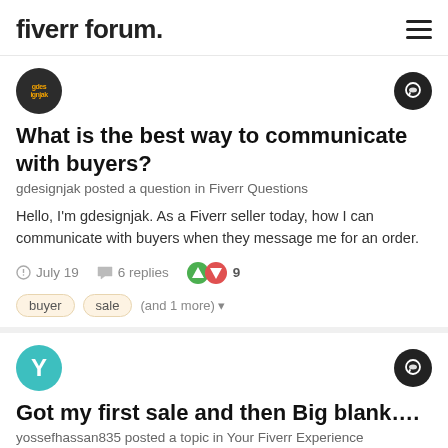fiverr forum.
[Figure (other): User avatar for gdesignjak, dark background with username text]
What is the best way to communicate with buyers?
gdesignjak posted a question in Fiverr Questions
Hello, I'm gdesignjak. As a Fiverr seller today, how I can communicate with buyers when they message me for an order.
July 19  6 replies  9
buyer  sale  (and 1 more)
[Figure (other): User avatar for yossefhassan835, teal circle with letter Y]
Got my first sale and then Big blank….
yossefhassan835 posted a topic in Your Fiverr Experience